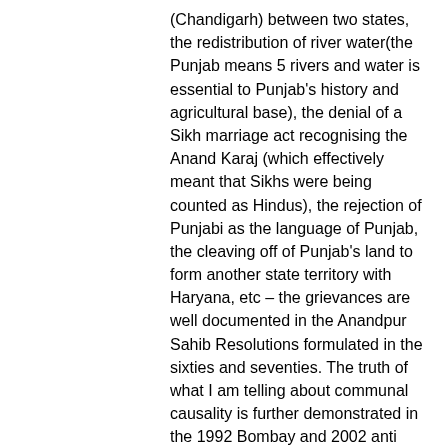(Chandigarh) between two states, the redistribution of river water(the Punjab means 5 rivers and water is essential to Punjab's history and agricultural base), the denial of a Sikh marriage act recognising the Anand Karaj (which effectively meant that Sikhs were being counted as Hindus), the rejection of Punjabi as the language of Punjab, the cleaving off of Punjab's land to form another state territory with Haryana, etc – the grievances are well documented in the Anandpur Sahib Resolutions formulated in the sixties and seventies. The truth of what I am telling about communal causality is further demonstrated in the 1992 Bombay and 2002 anti Muslim 'riots' – these events would not have occurred had the apparent acceptibility of collective punishment of a religious minority been set in precedent with the anti Sikh pogroms of 1984. That communal intolerance to religious minorities is how India and Pakistan were born and it is an underlying problem that Hindus (as they form a majority in the Indian subcontinent